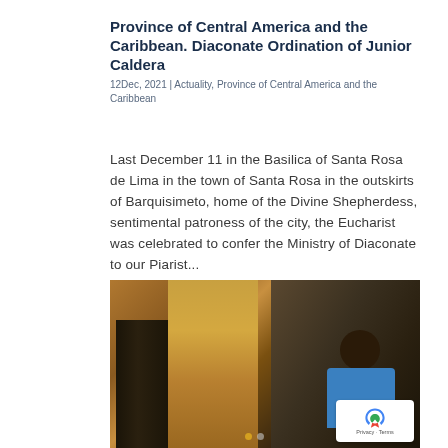Province of Central America and the Caribbean. Diaconate Ordination of Junior Caldera
12Dec, 2021 | Actuality, Province of Central America and the Caribbean
Last December 11 in the Basilica of Santa Rosa de Lima in the town of Santa Rosa in the outskirts of Barquisimeto, home of the Divine Shepherdess, sentimental patroness of the city, the Eucharist was celebrated to confer the Ministry of Diaconate to our Piarist...
[Figure (photo): Photo showing interior of a church building with a person in a blue shirt seated on the right, stone walls visible in background, and a large door/wooden panel on the left. A yellow dot navigation indicator is visible at the bottom.]